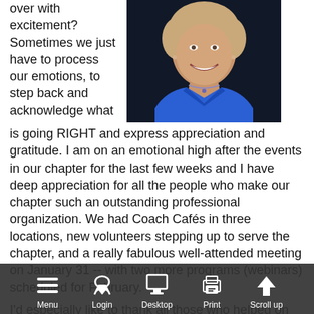over with excitement? Sometimes we just have to process our emotions, to step back and acknowledge what is going RIGHT and express appreciation and gratitude. I am on an emotional high after the events in our chapter for the last few weeks and I have deep appreciation for all the people who make our chapter such an outstanding professional organization. We had Coach Cafés in three locations, new volunteers stepping up to serve the chapter, and a really fabulous well-attended meeting on January 31 -- with two more programs (webinars) scheduled for February.
[Figure (photo): Professional headshot of a smiling woman with light hair wearing a blue collared shirt and a necklace, photographed against a dark background.]
I'd especially like to thank all those who helped on January 31. This includes the three coaches who facilitated discussions of the case scenarios -- Jill Berquist, PCC